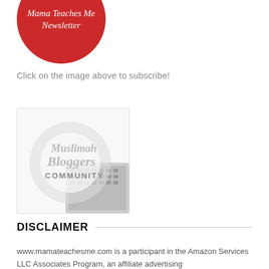[Figure (logo): Red circular badge with white italic text reading 'Mama Teaches Me Newsletter', cropped at top of page]
Click on the image above to subscribe!
[Figure (logo): Muslimah Bloggers Community badge showing text 'Muslimah Bloggers COMMUNITY' overlaid on a faded circle graphic with a laptop keyboard in the background]
DISCLAIMER
www.mamateachesme.com is a participant in the Amazon Services LLC Associates Program, an affiliate advertising